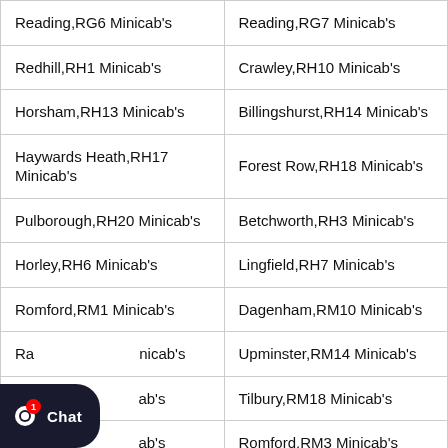| Column 1 | Column 2 |
| --- | --- |
| Reading,RG6 Minicab's | Reading,RG7 Minicab's |
| Redhill,RH1 Minicab's | Crawley,RH10 Minicab's |
| Horsham,RH13 Minicab's | Billingshurst,RH14 Minicab's |
| Haywards Heath,RH17 Minicab's | Forest Row,RH18 Minicab's |
| Pulborough,RH20 Minicab's | Betchworth,RH3 Minicab's |
| Horley,RH6 Minicab's | Lingfield,RH7 Minicab's |
| Romford,RM1 Minicab's | Dagenham,RM10 Minicab's |
| Ra[...] Minicab's | Upminster,RM14 Minicab's |
| Gra[...] Minicab's | Tilbury,RM18 Minicab's |
| Gra[...] Minicab's | Romford,RM3 Minicab's |
| Ro[...] Minicab's | Romford,RM7 Minicab's |
| Sheffield,S1 Minicab's | Sheffield,S10 Minicab's |
| Sheffield,S12 Minicab's | Sheffield,S14 Minicab's |